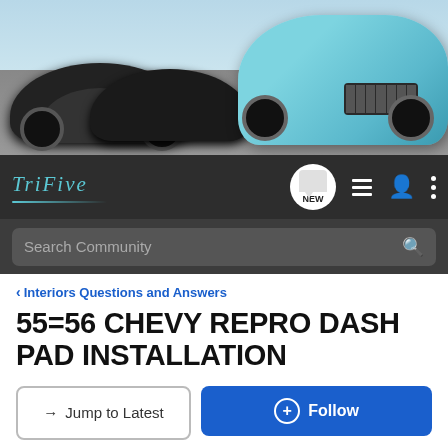[Figure (photo): Banner image showing classic 1950s Chevrolet cars — black cars on left, teal/aqua car on right, parked near beach/waterfront]
[Figure (screenshot): Navigation bar of TriFive forum with logo 'TriFive' in teal italic script, NEW button, list icon, user icon, and more options icon]
[Figure (screenshot): Search bar with placeholder text 'Search Community' and magnifying glass icon on dark background]
< Interiors Questions and Answers
55=56 CHEVY REPRO DASH PAD INSTALLATION
→ Jump to Latest
+ Follow
1 - 6 of 6 Posts